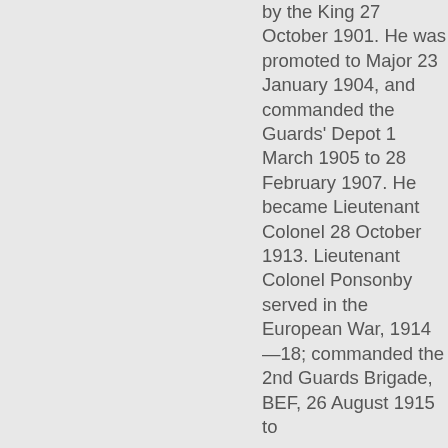by the King 27 October 1901. He was promoted to Major 23 January 1904, and commanded the Guards' Depot 1 March 1905 to 28 February 1907. He became Lieutenant Colonel 28 October 1913. Lieutenant Colonel Ponsonby served in the European War, 1914—18; commanded the 2nd Guards Brigade, BEF, 26 August 1915 to